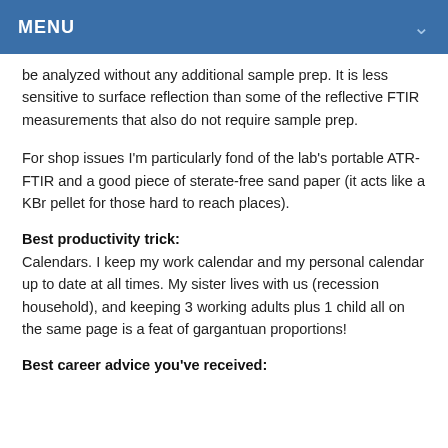MENU
be analyzed without any additional sample prep. It is less sensitive to surface reflection than some of the reflective FTIR measurements that also do not require sample prep.
For shop issues I'm particularly fond of the lab's portable ATR-FTIR and a good piece of sterate-free sand paper (it acts like a KBr pellet for those hard to reach places).
Best productivity trick:
Calendars. I keep my work calendar and my personal calendar up to date at all times. My sister lives with us (recession household), and keeping 3 working adults plus 1 child all on the same page is a feat of gargantuan proportions!
Best career advice you've received: